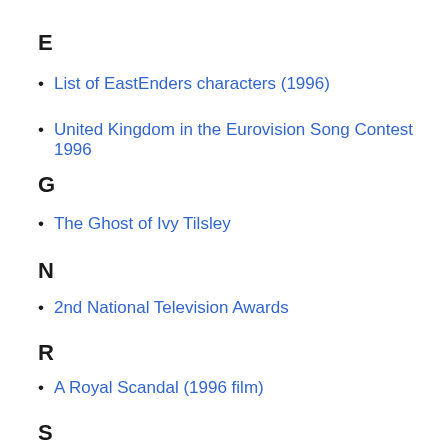E
List of EastEnders characters (1996)
United Kingdom in the Eurovision Song Contest 1996
G
The Ghost of Ivy Tilsley
N
2nd National Television Awards
R
A Royal Scandal (1996 film)
S
St George (advertisement)
W